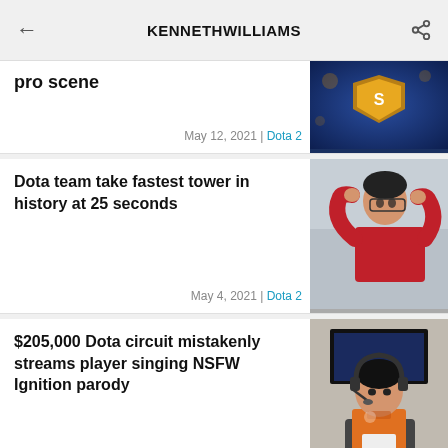KENNETHWILLIAMS
pro scene
May 12, 2021 | Dota 2
[Figure (photo): Gold trophy/badge emblem on blue background]
Dota team take fastest tower in history at 25 seconds
May 4, 2021 | Dota 2
[Figure (photo): A Dota 2 esports player in red jersey with hands on head]
$205,000 Dota circuit mistakenly streams player singing NSFW Ignition parody
Apr 29, 2021 | Dota 2
[Figure (photo): A player wearing headset and microphone in orange jersey, streaming]